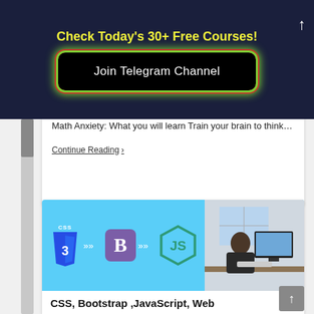Check Today's 30+ Free Courses!
Join Telegram Channel
Math Anxiety: What you will learn Train your brain to think…
Continue Reading ›
[Figure (illustration): Course thumbnail showing CSS, Bootstrap and JavaScript logos with arrows between them on a blue background, plus a photo of a person working at a computer desk]
CSS, Bootstrap ,JavaScript, Web